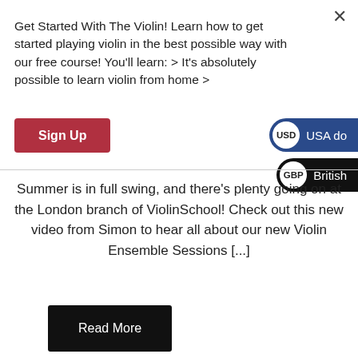Get Started With The Violin! Learn how to get started playing violin in the best possible way with our free course! You'll learn: > It's absolutely possible to learn violin from home >
Sign Up
USD  USA do
GBP  British
Summer is in full swing, and there's plenty going on at the London branch of ViolinSchool! Check out this new video from Simon to hear all about our new Violin Ensemble Sessions [...]
Read More